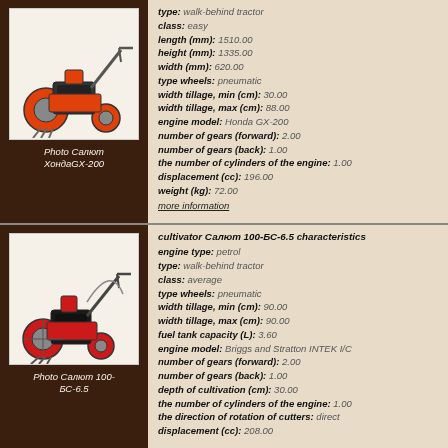[Figure (photo): Photo of Салют ХондаGX-200 walk-behind tractor, red/orange color]
Photo Салют ХондаGX-200
type: walk-behind tractor
class: easy
length (mm): 1510.00
height (mm): 1335.00
width (mm): 620.00
type wheels: pneumatic
width tillage, min (cm): 30.00
width tillage, max (cm): 88.00
engine model: Honda GX-200
number of gears (forward): 2.00
number of gears (back): 1.00
the number of cylinders of the engine: 1.00
displacement (cc): 196.00
weight (kg): 72.00
more information
[Figure (photo): Photo of Салют 100-БС-6.5 walk-behind tractor, red color]
Photo Салют 100-БС-6.5
cultivator Салют 100-БС-6.5 characteristics
engine type: petrol
type: walk-behind tractor
class: average
type wheels: pneumatic
width tillage, min (cm): 90.00
width tillage, max (cm): 90.00
fuel tank capacity (L): 3.60
engine model: Briggs and Stratton INTEK I/C
number of gears (forward): 2.00
number of gears (back): 1.00
depth of cultivation (cm): 30.00
the number of cylinders of the engine: 1.00
the direction of rotation of cutters: direct
displacement (cc): 208.00